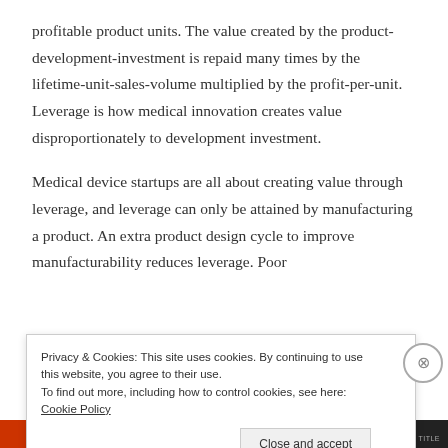profitable product units. The value created by the product-development-investment is repaid many times by the lifetime-unit-sales-volume multiplied by the profit-per-unit. Leverage is how medical innovation creates value disproportionately to development investment.
Medical device startups are all about creating value through leverage, and leverage can only be attained by manufacturing a product. An extra product design cycle to improve manufacturability reduces leverage. Poor
Privacy & Cookies: This site uses cookies. By continuing to use this website, you agree to their use.
To find out more, including how to control cookies, see here: Cookie Policy
Close and accept